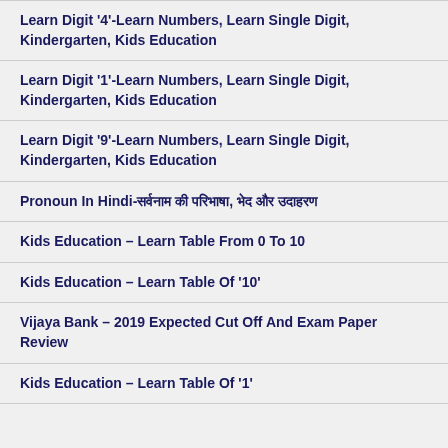Learn Digit '4'-Learn Numbers, Learn Single Digit, Kindergarten, Kids Education
Learn Digit '1'-Learn Numbers, Learn Single Digit, Kindergarten, Kids Education
Learn Digit '9'-Learn Numbers, Learn Single Digit, Kindergarten, Kids Education
Pronoun In Hindi-सर्वनाम की परिभाषा, भेद और उदाहरण
Kids Education – Learn Table From 0 To 10
Kids Education – Learn Table Of '10'
Vijaya Bank – 2019 Expected Cut Off And Exam Paper Review
Kids Education – Learn Table Of '1'